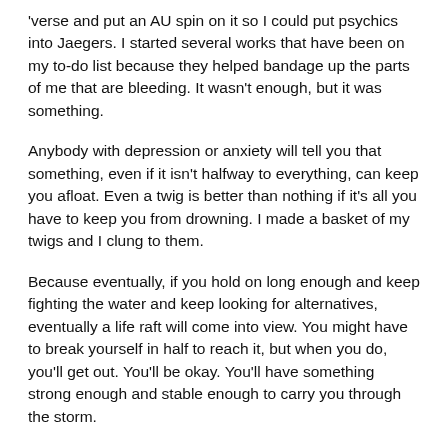'verse and put an AU spin on it so I could put psychics into Jaegers.  I started several works that have been on my to-do list because they helped bandage up the parts of me that are bleeding.  It wasn't enough, but it was something.
Anybody with depression or anxiety will tell you that something, even if it isn't halfway to everything, can keep you afloat.  Even a twig is better than nothing if it's all you have to keep you from drowning.  I made a basket of my twigs and I clung to them.
Because eventually, if you hold on long enough and keep fighting the water and keep looking for alternatives, eventually a life raft will come into view.  You might have to break yourself in half to reach it, but when you do, you'll get out.  You'll be okay.  You'll have something strong enough and stable enough to carry you through the storm.
When it is that I have come across "the...